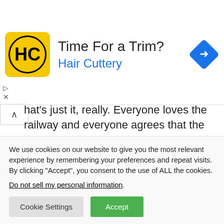[Figure (infographic): Hair Cuttery advertisement banner with yellow square logo showing 'HC' in a circle, title 'Time For a Trim?', subtitle 'Hair Cuttery' in blue, and a blue navigation/direction diamond icon on the right.]
hat's just it, really. Everyone loves the railway and everyone agrees that the reactionary dwarves are bad. So all it takes is to lay down the tracks and wallop the bad dwarfs—who are coded to be remarkably similar to religious terrorists—properly. Any problems that appear are summarily handled without much tension.
We use cookies on our website to give you the most relevant experience by remembering your preferences and repeat visits. By clicking "Accept", you consent to the use of ALL the cookies.
Do not sell my personal information.